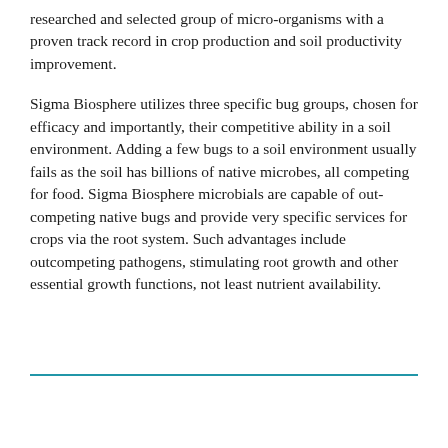researched and selected group of micro-organisms with a proven track record in crop production and soil productivity improvement.
Sigma Biosphere utilizes three specific bug groups, chosen for efficacy and importantly, their competitive ability in a soil environment. Adding a few bugs to a soil environment usually fails as the soil has billions of native microbes, all competing for food. Sigma Biosphere microbials are capable of out-competing native bugs and provide very specific services for crops via the root system. Such advantages include outcompeting pathogens, stimulating root growth and other essential growth functions, not least nutrient availability.